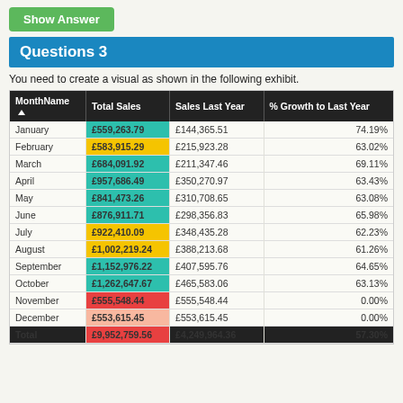Show Answer
Questions 3
You need to create a visual as shown in the following exhibit.
| MonthName | Total Sales | Sales Last Year | % Growth to Last Year |
| --- | --- | --- | --- |
| January | £559,263.79 | £144,365.51 | 74.19% |
| February | £583,915.29 | £215,923.28 | 63.02% |
| March | £684,091.92 | £211,347.46 | 69.11% |
| April | £957,686.49 | £350,270.97 | 63.43% |
| May | £841,473.26 | £310,708.65 | 63.08% |
| June | £876,911.71 | £298,356.83 | 65.98% |
| July | £922,410.09 | £348,435.28 | 62.23% |
| August | £1,002,219.24 | £388,213.68 | 61.26% |
| September | £1,152,976.22 | £407,595.76 | 64.65% |
| October | £1,262,647.67 | £465,583.06 | 63.13% |
| November | £555,548.44 | £555,548.44 | 0.00% |
| December | £553,615.45 | £553,615.45 | 0.00% |
| Total | £9,952,759.56 | £4,249,964.36 | 57.30% |